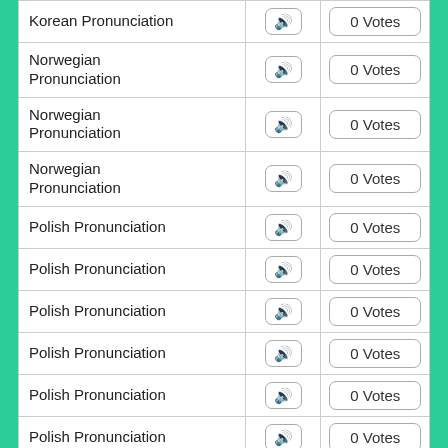| Language | Audio | Votes |
| --- | --- | --- |
| Korean Pronunciation | 🔊 | 0 Votes |
| Norwegian Pronunciation | 🔊 | 0 Votes |
| Norwegian Pronunciation | 🔊 | 0 Votes |
| Norwegian Pronunciation | 🔊 | 0 Votes |
| Polish Pronunciation | 🔊 | 0 Votes |
| Polish Pronunciation | 🔊 | 0 Votes |
| Polish Pronunciation | 🔊 | 0 Votes |
| Polish Pronunciation | 🔊 | 0 Votes |
| Polish Pronunciation | 🔊 | 0 Votes |
| Polish Pronunciation | 🔊 | 0 Votes |
| Portuguese (Brazil) Pronunciation | 🔊 | 0 Votes |
| Portuguese (Brazil) | 🔊 | 0 Votes |